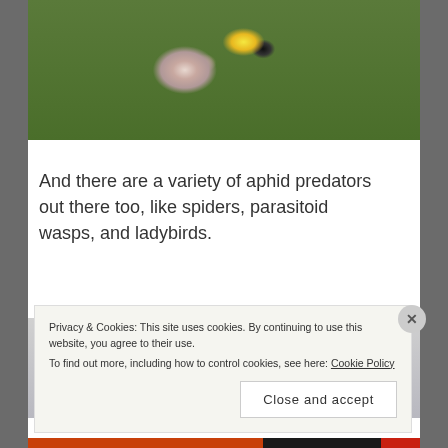[Figure (photo): Photograph of flowers with green grass/leaves background, with what appears to be a bumblebee visiting a pink/white flower]
And there are a variety of aphid predators out there too, like spiders, parasitoid wasps, and ladybirds.
[Figure (photo): Photograph showing water droplets or bubbles on a surface, appearing as transparent/glass-like spheres]
Privacy & Cookies: This site uses cookies. By continuing to use this website, you agree to their use.
To find out more, including how to control cookies, see here: Cookie Policy
Close and accept